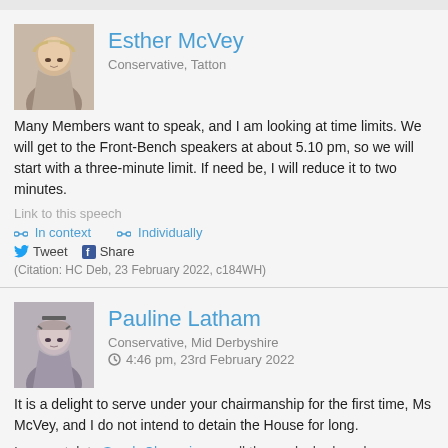Esther McVey
Conservative, Tatton
Many Members want to speak, and I am looking at time limits. We will get to the Front-Bench speakers at about 5.10 pm, so we will start with a three-minute limit. If need be, I will reduce it to two minutes.
Link to this speech
In context   Individually
Tweet   Share
(Citation: HC Deb, 23 February 2022, c184WH)
Pauline Latham
Conservative, Mid Derbyshire
4:46 pm, 23rd February 2022
It is a delight to serve under your chairmanship for the first time, Ms McVey, and I do not intend to detain the House for long.
I congratulate Sarah Champion on all the work she has done over many